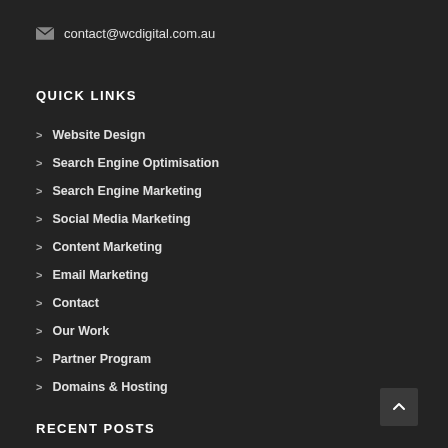✉ contact@wcdigital.com.au
QUICK LINKS
Website Design
Search Engine Optimisation
Search Engine Marketing
Social Media Marketing
Content Marketing
Email Marketing
Contact
Our Work
Partner Program
Domains & Hosting
RECENT POSTS